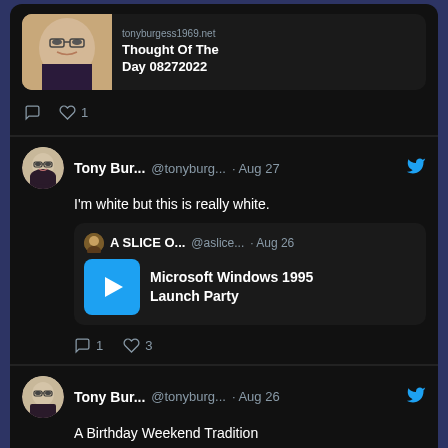[Figure (screenshot): Twitter/social media feed screenshot showing three tweet cards on a dark background. First card shows a link preview for 'Thought Of The Day 08272022' from tonyburgess1969.net. Second card by Tony Bur... @tonyburg... Aug 27 saying 'I'm white but this is really white.' with a quoted tweet from A SLICE O... @aslice... Aug 26 about 'Microsoft Windows 1995 Launch Party' with a video thumbnail. Third card by Tony Bur... @tonyburg... Aug 26 saying 'A Birthday Weekend Tradition'.]